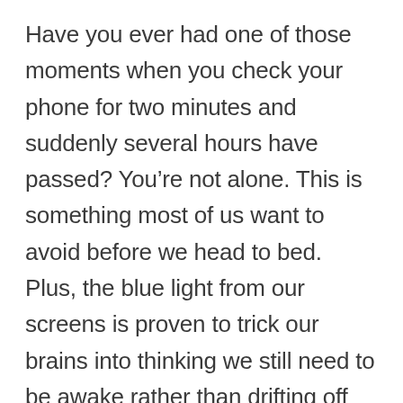Have you ever had one of those moments when you check your phone for two minutes and suddenly several hours have passed? You’re not alone. This is something most of us want to avoid before we head to bed. Plus, the blue light from our screens is proven to trick our brains into thinking we still need to be awake rather than drifting off into a peaceful sleep.